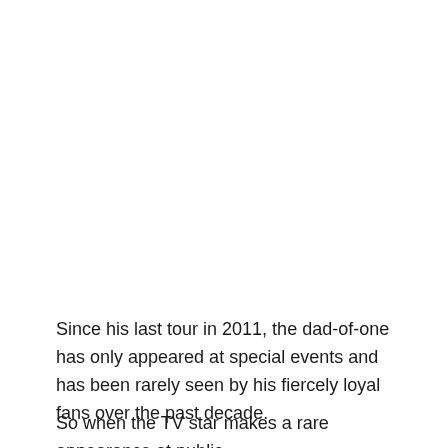Since his last tour in 2011, the dad-of-one has only appeared at special events and has been rarely seen by his fiercely loyal fans over the past decade.
So when the TV star makes a rare appearance at public